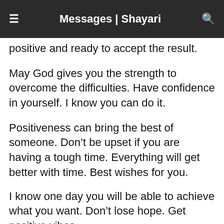Messages | Shayari
positive and ready to accept the result.
May God gives you the strength to overcome the difficulties. Have confidence in yourself. I know you can do it.
Positiveness can bring the best of someone. Don’t be upset if you are having a tough time. Everything will get better with time. Best wishes for you.
I know one day you will be able to achieve what you want. Don’t lose hope. Get positive vibes.
The way you spread positive energy, inspires us too. Keep it up and best wishes